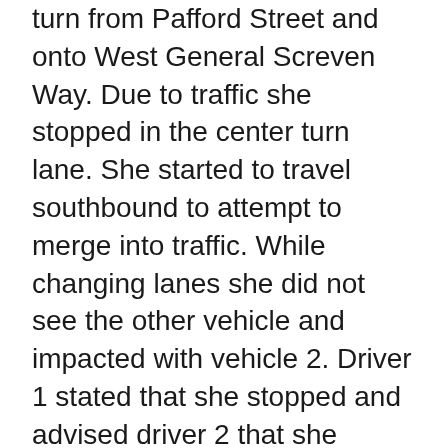turn from Pafford Street and onto West General Screven Way. Due to traffic she stopped in the center turn lane. She started to travel southbound to attempt to merge into traffic. While changing lanes she did not see the other vehicle and impacted with vehicle 2. Driver 1 stated that she stopped and advised driver 2 that she needed to leave to let her dog outside.
Driver 2 stated that she made her left turn from Pafford Street onto West General Screven Way and got into the number 2 lane. While traveling southbound on West General Screven